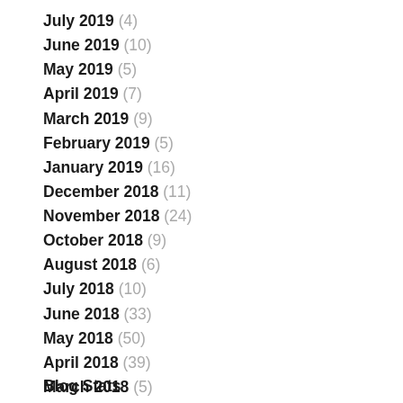July 2019 (4)
June 2019 (10)
May 2019 (5)
April 2019 (7)
March 2019 (9)
February 2019 (5)
January 2019 (16)
December 2018 (11)
November 2018 (24)
October 2018 (9)
August 2018 (6)
July 2018 (10)
June 2018 (33)
May 2018 (50)
April 2018 (39)
March 2018 (5)
Blog Stats